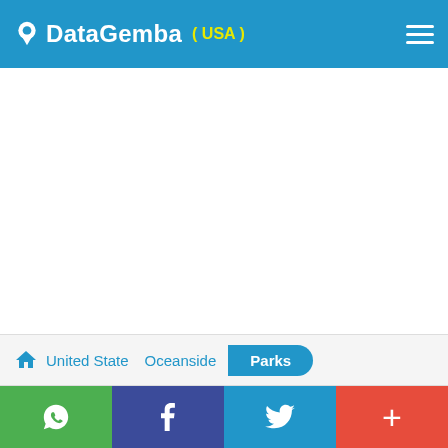DataGemba (USA)
[Figure (other): Map area placeholder - white empty space]
United State  Oceanside  Parks
WhatsApp | Facebook | Twitter | +